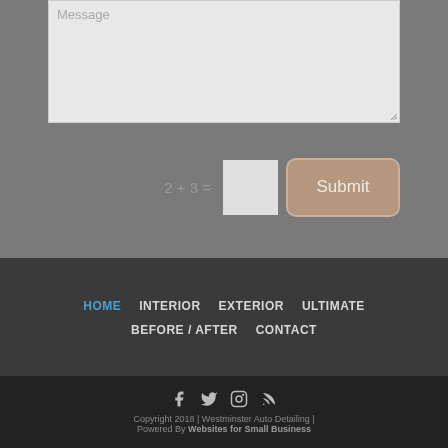[Figure (screenshot): Contact form textarea with placeholder text 'Message', a CAPTCHA math question '2 + 3 =' with blank input box, and a Submit button]
HOME
INTERIOR
EXTERIOR
ULTIMATE
BEFORE / AFTER
CONTACT
Copyright 2018 | Westminster Auto Detailing | Powered By Websites for Small Business